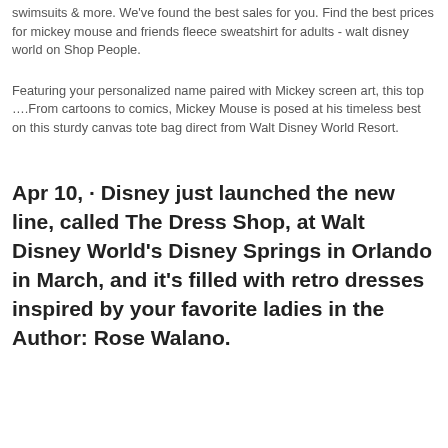swimsuits & more. We've found the best sales for you. Find the best prices for mickey mouse and friends fleece sweatshirt for adults - walt disney world on Shop People.
Featuring your personalized name paired with Mickey screen art, this top ….From cartoons to comics, Mickey Mouse is posed at his timeless best on this sturdy canvas tote bag direct from Walt Disney World Resort.
Apr 10, · Disney just launched the new line, called The Dress Shop, at Walt Disney World's Disney Springs in Orlando in March, and it's filled with retro dresses inspired by your favorite ladies in the Author: Rose Walano.